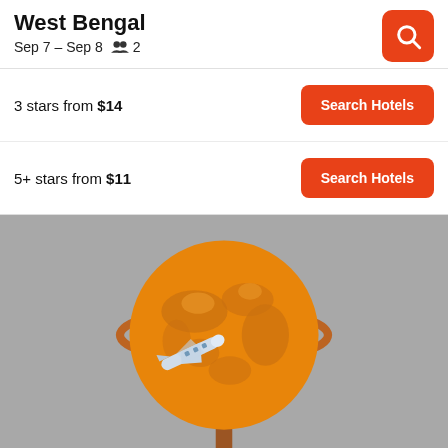West Bengal
Sep 7 – Sep 8   👥 2
3 stars from $14
5+ stars from $11
[Figure (illustration): 3D illustration of an orange globe with an airplane flying around it, placed on a brown stand, on a gray background]